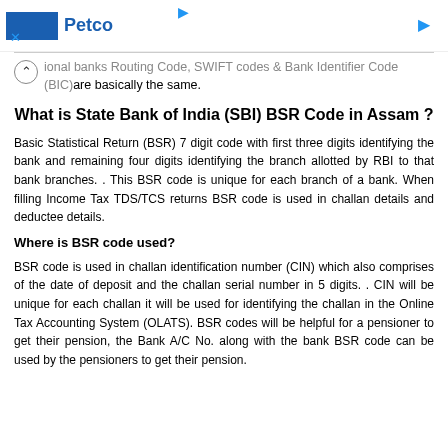Petco [advertisement banner]
ional banks Routing Code, SWIFT codes & Bank Identifier Code (BIC)are basically the same.
What is State Bank of India (SBI) BSR Code in Assam ?
Basic Statistical Return (BSR) 7 digit code with first three digits identifying the bank and remaining four digits identifying the branch allotted by RBI to that bank branches. . This BSR code is unique for each branch of a bank. When filling Income Tax TDS/TCS returns BSR code is used in challan details and deductee details.
Where is BSR code used?
BSR code is used in challan identification number (CIN) which also comprises of the date of deposit and the challan serial number in 5 digits. . CIN will be unique for each challan it will be used for identifying the challan in the Online Tax Accounting System (OLATS). BSR codes will be helpful for a pensioner to get their pension, the Bank A/C No. along with the bank BSR code can be used by the pensioners to get their pension.